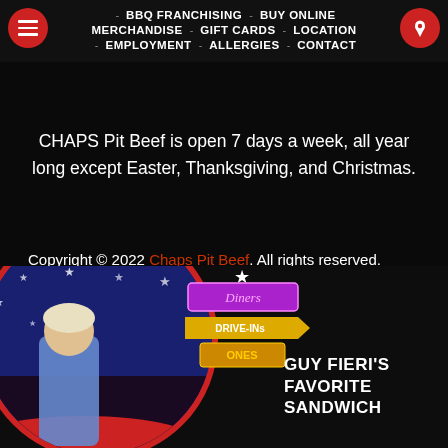BBQ FRANCHISING - BUY ONLINE - MERCHANDISE - GIFT CARDS - LOCATIONS - EMPLOYMENT - ALLERGIES - CONTACT
CHAPS Pit Beef is open 7 days a week, all year long except Easter, Thanksgiving, and Christmas.
Copyright © 2022 Chaps Pit Beef. All rights reserved. Website design & maintenance by Appetizing Sites.
[Figure (photo): Circular photo of Guy Fieri with Diners Drive-Ins and Dives sign, set against a blue star-pattern background with red car, bottom-left of page]
GUY FIERI'S FAVORITE SANDWICH